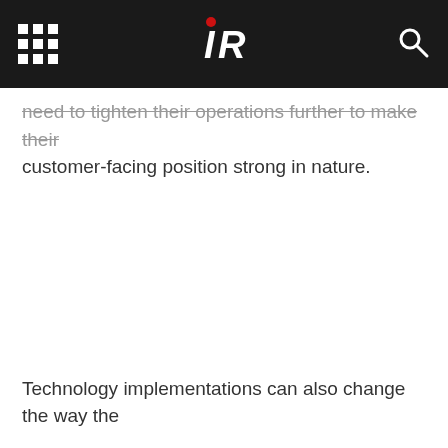IR logo header with navigation
need to tighten their operations further to make their customer-facing position strong in nature.
Technology implementations can also change the way the